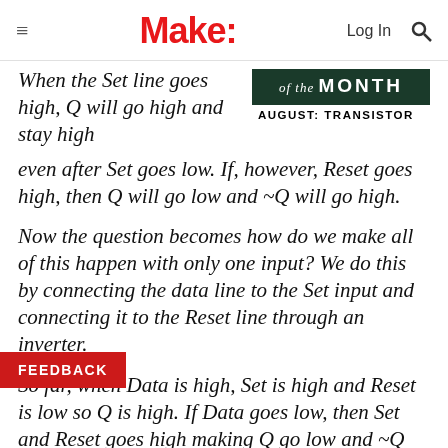≡  Make:  Log In 🔍
When the Set line goes high, Q will go high and stay high even after Set goes low. If, however, Reset goes high, then Q will go low and ~Q will go high.
[Figure (illustration): Badge reading 'of the MONTH AUGUST: TRANSISTOR' on dark green background]
Now the question becomes how do we make all of this happen with only one input? We do this by connecting the data line to the Set input and connecting it to the Reset line through an inverter.
So far, when Data is high, Set is high and Reset is low so Q is high. If Data goes low, then Set and Reset goes high making Q go low and ~Q go high. Now we have another problem
FEEDBACK